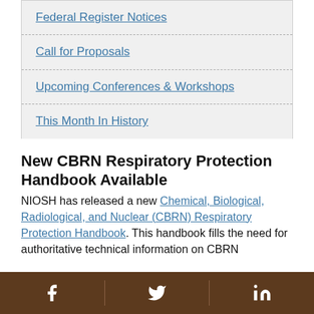Federal Register Notices
Call for Proposals
Upcoming Conferences & Workshops
This Month In History
New CBRN Respiratory Protection Handbook Available
NIOSH has released a new Chemical, Biological, Radiological, and Nuclear (CBRN) Respiratory Protection Handbook. This handbook fills the need for authoritative technical information on CBRN
Social media links: Facebook, Twitter, LinkedIn